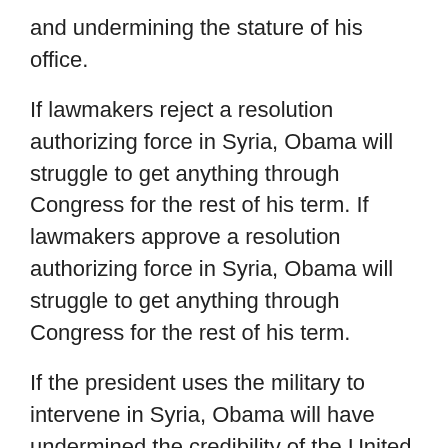and undermining the stature of his office.
If lawmakers reject a resolution authorizing force in Syria, Obama will struggle to get anything through Congress for the rest of his term. If lawmakers approve a resolution authorizing force in Syria, Obama will struggle to get anything through Congress for the rest of his term.
If the president uses the military to intervene in Syria, Obama will have undermined the credibility of the United States on the global stage. If the president honors a congressional vote against using the military to intervene in Syria, Obama will have undermined the credibility of the United States on the global stage.
I'm starting to think this game is rigged in a heads-I-win; tails-you-lose sort of way.